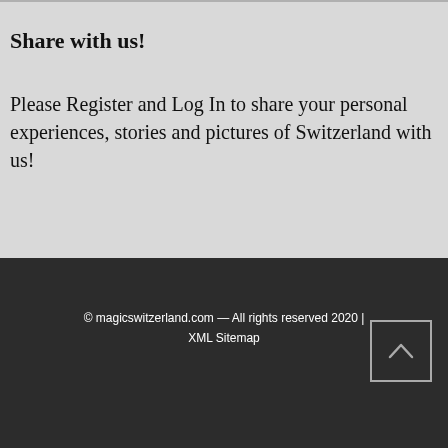Share with us!
Please Register and Log In to share your personal experiences, stories and pictures of Switzerland with us!
© magicswitzerland.com — All rights reserved 2020 | XML Sitemap